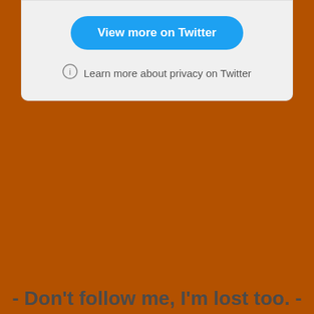[Figure (screenshot): Twitter embed card partial view with 'View more on Twitter' button and privacy link]
- Don't follow me, I'm lost too. -